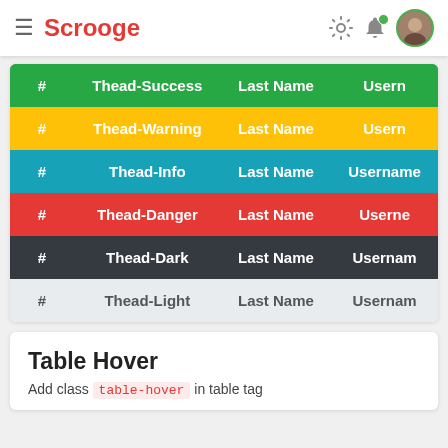Scrooge
| # | Thead-Success | Last Name | Usern |
| --- | --- | --- | --- |
| # | Thead-Success | Last Name | Usern |
| # | Thead-Warning | Last Name | Usern |
| # | Thead-Info | Last Name | Username |
| # | Thead-Danger | Last Name | Userna |
| # | Thead-Dark | Last Name | Usernam |
| # | Thead-Light | Last Name | Usernam |
Table Hover
Add class table-hover in table tag